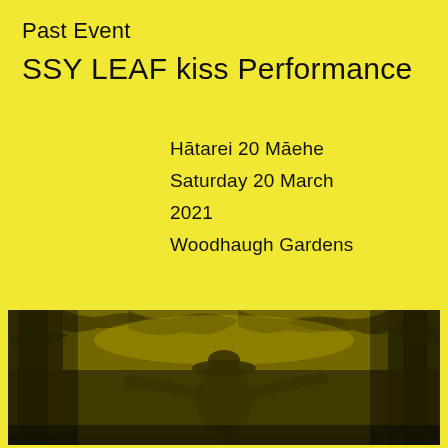Past Event
SSY LEAF kiss Performance
Hātarei 20 Māehe
Saturday 20 March
2021
Woodhaugh Gardens
[Figure (photo): Black and white photo with yellow tint of a person with arms outstretched among trees, viewed from below, wearing a wide-brimmed hat.]